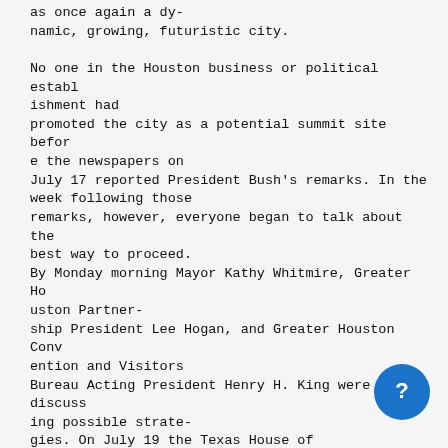as once again a dy-
namic, growing, futuristic city.

No one in the Houston business or political establ
ishment had
promoted the city as a potential summit site befor
e the newspapers on
July 17 reported President Bush's remarks. In the
week following those
remarks, however, everyone began to talk about the
best way to proceed.
By Monday morning Mayor Kathy Whitmire, Greater Ho
uston Partner-
ship President Lee Hogan, and Greater Houston Conv
ention and Visitors
Bureau Acting President Henry H. King were discuss
ing possible strate-
gies. On July 19 the Texas House of Representative
s passed a resolution
urging that the next summit come to Texas, Mayor W
hitmire announced
on July 22 that she was considering putting togeth
er a task force to work
on the project, and the Houston Protocol Allianc
was touting the city's